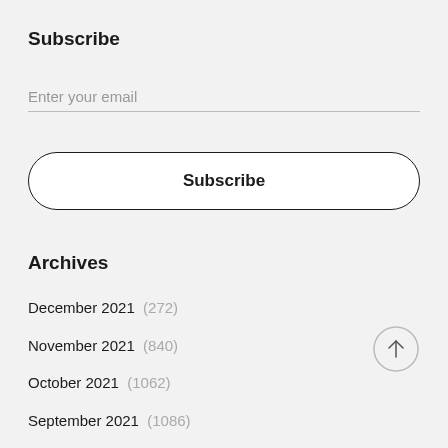Subscribe
Enter your email
Subscribe
Archives
December 2021 (272)
November 2021 (840)
October 2021 (1062)
September 2021 (1086)
August 2021 (1166)